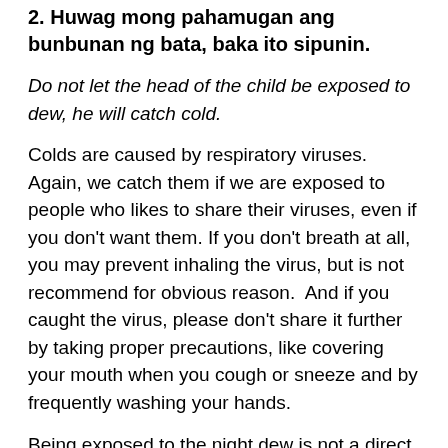2. Huwag mong pahamugan ang bunbunan ng bata, baka ito sipunin.
Do not let the head of the child be exposed to dew, he will catch cold.
Colds are caused by respiratory viruses. Again, we catch them if we are exposed to people who likes to share their viruses, even if you don't want them. If you don't breath at all, you may prevent inhaling the virus, but is not recommend for obvious reason.  And if you caught the virus, please don't share it further by taking proper precautions, like covering your mouth when you cough or sneeze and by frequently washing your hands.
Being exposed to the night dew is not a direct cause of colds. However if your putting a hat or covering the head of a child because of frigid temperature, then that is